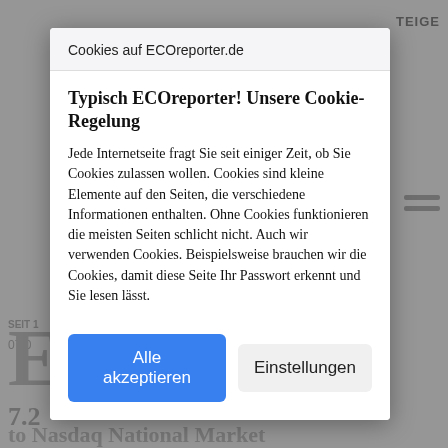[Figure (screenshot): Background webpage content showing ECOreporter.de website partially visible behind a cookie consent modal dialog.]
Cookies auf ECOreporter.de
Typisch ECOreporter! Unsere Cookie-Regelung
Jede Internetseite fragt Sie seit einiger Zeit, ob Sie Cookies zulassen wollen. Cookies sind kleine Elemente auf den Seiten, die verschiedene Informationen enthalten. Ohne Cookies funktionieren die meisten Seiten schlicht nicht. Auch wir verwenden Cookies. Beispielsweise brauchen wir die Cookies, damit diese Seite Ihr Passwort erkennt und Sie lesen lässt.
Alle akzeptieren
Einstellungen